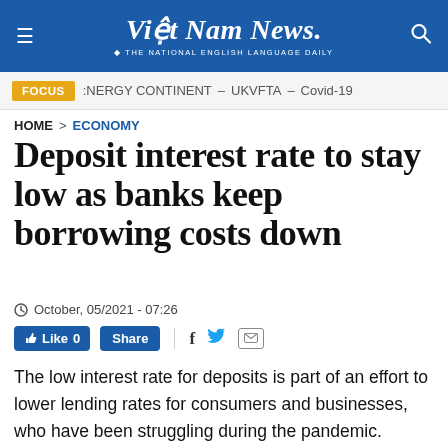Việt Nam News – THE NATIONAL ENGLISH LANGUAGE DAILY
FOCUS | ENERGY CONTINENT – UKVFTA – Covid-19
HOME > ECONOMY
Deposit interest rate to stay low as banks keep borrowing costs down
October, 05/2021 - 07:26
Like 0  Share
The low interest rate for deposits is part of an effort to lower lending rates for consumers and businesses, who have been struggling during the pandemic.